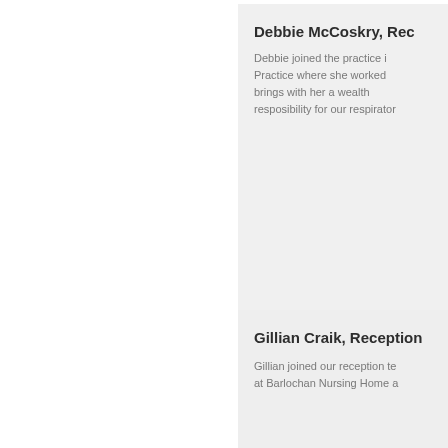Debbie McCoskry, Rec...
Debbie joined the practice i... Practice where she worked ... brings with her a wealth ... resposibility for our respirator...
Gillian Craik, Reception...
Gillian joined our reception te... at Barlochan Nursing Home a...